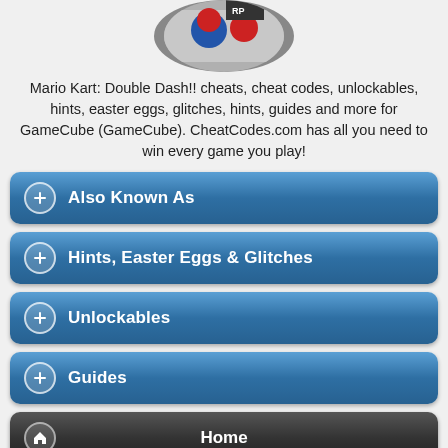[Figure (photo): Circular cropped photo of Mario Kart Double Dash game or figurines with red and blue characters]
Mario Kart: Double Dash!! cheats, cheat codes, unlockables, hints, easter eggs, glitches, hints, guides and more for GameCube (GameCube). CheatCodes.com has all you need to win every game you play!
Also Known As
Hints, Easter Eggs & Glitches
Unlockables
Guides
Home
GameCube